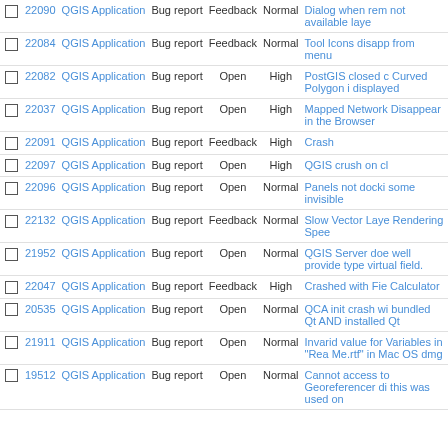|  | # | Project | Tracker | Status | Priority | Subject |
| --- | --- | --- | --- | --- | --- | --- |
|  | 22090 | QGIS Application | Bug report | Feedback | Normal | Dialog when rem not available laye |
|  | 22084 | QGIS Application | Bug report | Feedback | Normal | Tool Icons disapp from menu |
|  | 22082 | QGIS Application | Bug report | Open | High | PostGIS closed c Curved Polygon i displayed |
|  | 22037 | QGIS Application | Bug report | Open | High | Mapped Network Disappear in the Browser |
|  | 22091 | QGIS Application | Bug report | Feedback | High | Crash |
|  | 22097 | QGIS Application | Bug report | Open | High | QGIS crush on cl |
|  | 22096 | QGIS Application | Bug report | Open | Normal | Panels not docki some invisible |
|  | 22132 | QGIS Application | Bug report | Feedback | Normal | Slow Vector Laye Rendering Spee |
|  | 21952 | QGIS Application | Bug report | Open | Normal | QGIS Server doe well provide type virtual field. |
|  | 22047 | QGIS Application | Bug report | Feedback | High | Crashed with Fie Calculator |
|  | 20535 | QGIS Application | Bug report | Open | Normal | QCA init crash wi bundled Qt AND installed Qt |
|  | 21911 | QGIS Application | Bug report | Open | Normal | Invarid value for Variables in "Rea Me.rtf" in Mac OS dmg |
|  | 19512 | QGIS Application | Bug report | Open | Normal | Cannot access to Georeferencer di this was used on |